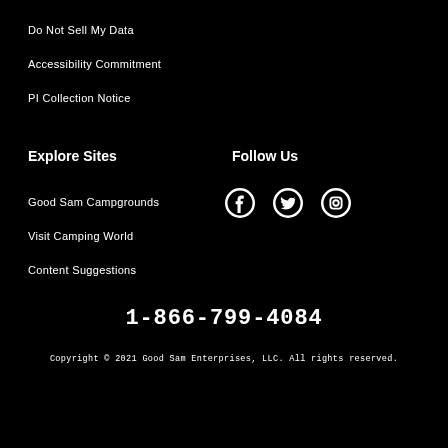Do Not Sell My Data
Accessibility Commitment
PI Collection Notice
Explore Sites
Follow Us
Good Sam Campgrounds
[Figure (illustration): Social media icons: Facebook, Twitter, Instagram]
Visit Camping World
Content Suggestions
1-866-799-4084
Copyright © 2021 Good Sam Enterprises, LLC. All rights reserved.